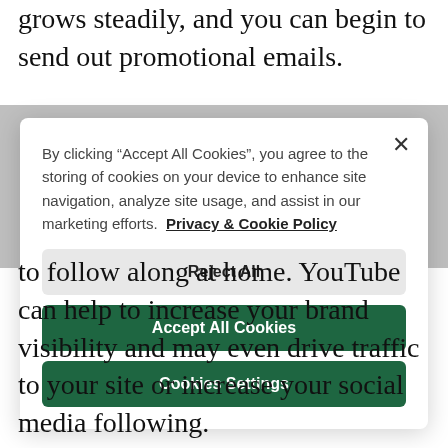something else. Your list grows steadily, and you can begin to send out promotional emails.
[Figure (screenshot): Cookie consent modal dialog with 'Reject All', 'Accept All Cookies', and 'Cookies Settings' buttons, and a close (×) button in the top right. Text reads: 'By clicking "Accept All Cookies", you agree to the storing of cookies on your device to enhance site navigation, analyze site usage, and assist in our marketing efforts. Privacy & Cookie Policy']
to follow along at home. YouTube can help to increase your brand visibility and may even drive traffic to your site or increase your social media following.